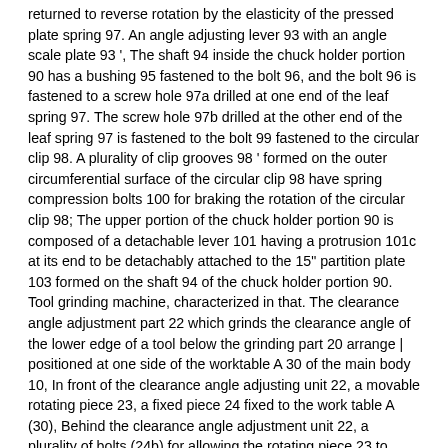returned to reverse rotation by the elasticity of the pressed plate spring 97. An angle adjusting lever 93 with an angle scale plate 93 '. The shaft 94 inside the chuck holder portion 90 has a bushing 95 fastened to the bolt 96, and the bolt 96 is fastened to a screw hole 97a drilled at one end of the leaf spring 97. The screw hole 97b drilled at the other end of the leaf spring 97 is fastened to the bolt 99 fastened to the circular clip 98. A plurality of clip grooves 98 ' formed on the outer circumferential surface of the circular clip 98 have spring compression bolts 100 for braking the rotation of the circular clip 98; The upper portion of the chuck holder portion 90 is composed of a detachable lever 101 having a protrusion 101c at its end to be detachably attached to the 15" partition plate 103 formed on the shaft 94 of the chuck holder portion 90. Tool grinding machine, characterized in that. The clearance angle adjustment part 22 which grinds the clearance angle of the lower edge of a tool below the grinding part 20 arrange | positioned at one side of the worktable A 30 of the main body 10, In front of the clearance angle adjusting unit 22, a movable rotating piece 23, a fixed piece 24 fixed to the work table A (30), Behind the clearance angle adjustment unit 22, a plurality of bolts (24b) for allowing the rotating piece 23 to move and brake, Inside the rotating piece 23 and the fixing piece 24, the rack piece 23a and the fixing piece (23) on the rotating piece 23 so that the rotating piece 23 can rotate by releasing the bolt 24b. 24) a spur gear 24c,